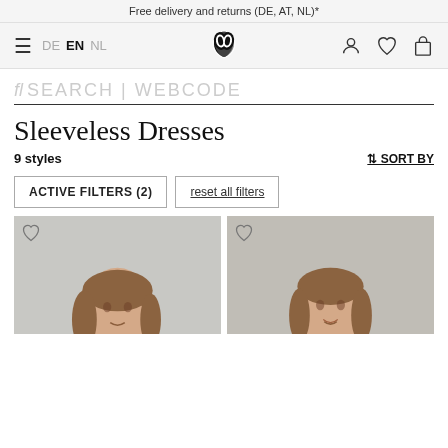Free delivery and returns (DE, AT, NL)*
DE EN NL [logo] [account] [wishlist] [cart]
fl SEARCH | WEBCODE
Sleeveless Dresses
9 styles
↑↓ SORT BY
ACTIVE FILTERS (2)   reset all filters
[Figure (photo): Model wearing a white sleeveless dress with ruffled collar detail]
[Figure (photo): Model wearing a patterned sleeveless dress with yellow/orange and floral details]